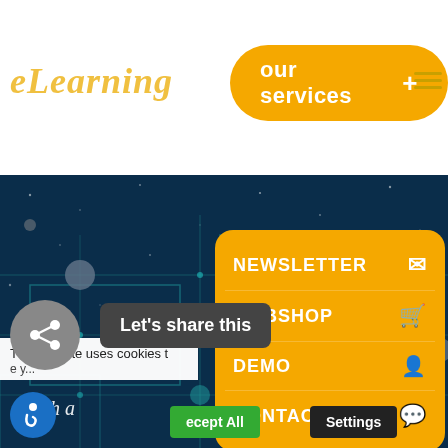eLearning
our services +
[Figure (screenshot): Hero background: dark blue network/tech graphic with glowing nodes and circuit lines, with italic text 'High a...' overlay]
NEWSLETTER
WEBSHOP
DEMO
CONTACT
This website uses cookies t...
Let's share this
Accept All
Settings